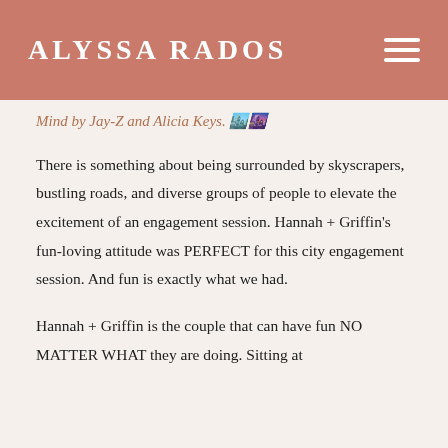ALYSSA RADOS
Mind by Jay-Z and Alicia Keys. 🏙️🌆
There is something about being surrounded by skyscrapers, bustling roads, and diverse groups of people to elevate the excitement of an engagement session. Hannah + Griffin's fun-loving attitude was PERFECT for this city engagement session. And fun is exactly what we had.
Hannah + Griffin is the couple that can have fun NO MATTER WHAT they are doing. Sitting at